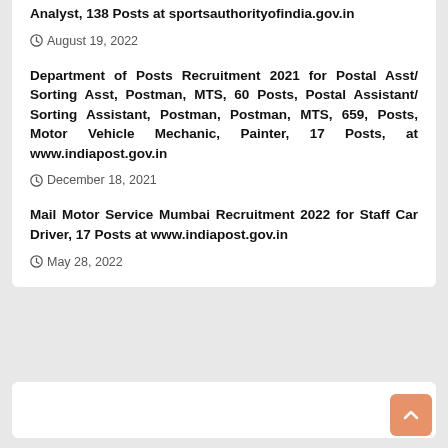Analyst, 138 Posts at sportsauthorityofindia.gov.in
August 19, 2022
Department of Posts Recruitment 2021 for Postal Asst/ Sorting Asst, Postman, MTS, 60 Posts, Postal Assistant/ Sorting Assistant, Postman, Postman, MTS, 659, Posts, Motor Vehicle Mechanic, Painter, 17 Posts, at www.indiapost.gov.in
December 18, 2021
Mail Motor Service Mumbai Recruitment 2022 for Staff Car Driver, 17 Posts at www.indiapost.gov.in
May 28, 2022